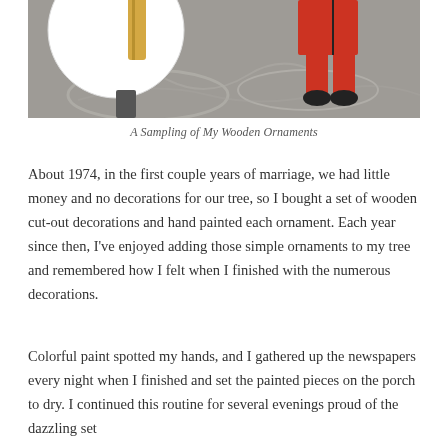[Figure (photo): Partial photo showing wooden Christmas ornaments including a figure in red outfit with black shoes and a circular white ornament, on a patterned background surface.]
A Sampling of My Wooden Ornaments
About 1974, in the first couple years of marriage, we had little money and no decorations for our tree, so I bought a set of wooden cut-out decorations and hand painted each ornament. Each year since then, I've enjoyed adding those simple ornaments to my tree and remembered how I felt when I finished with the numerous decorations.
Colorful paint spotted my hands, and I gathered up the newspapers every night when I finished and set the painted pieces on the porch to dry. I continued this routine for several evenings proud of the dazzling set